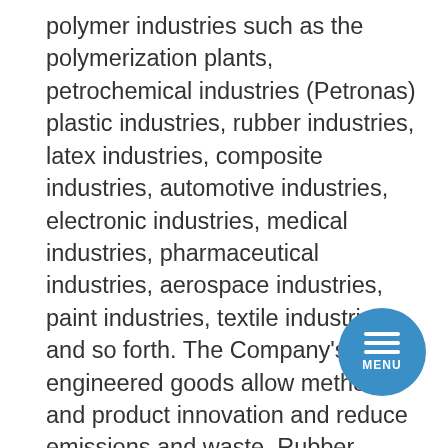polymer industries such as the polymerization plants, petrochemical industries (Petronas) plastic industries, rubber industries, latex industries, composite industries, automotive industries, electronic industries, medical industries, pharmaceutical industries, aerospace industries, paint industries, textile industries and so forth. The Company's engineered goods allow method and product innovation and reduce emissions and waste. Rubber processing chemical compounds impart superior efficiency below intense climate circumstances to the rubber merchandise. Our goods have been produced to maintain their performance in the harshest environments: every single 1 with the particular mixture of properties necessary for exceptional heat resistance and chemical inertness, strength and toughness, lightweighting and style flexibility, biocompatibility and a lot of much more. In mature markets such as North America and Western Europe
[Figure (other): Blue circular menu button with three horizontal white lines and 'MENU' text label]